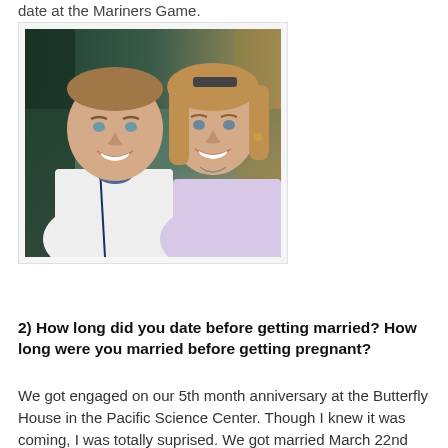date at the Mariners Game.
[Figure (photo): A smiling couple posing closely together. The man on the left wears a white Mariners baseball jersey over a blue t-shirt. The woman on the right has light brown hair and wears a light purple top. They appear to be at a sports venue.]
2) How long did you date before getting married? How long were you married before getting pregnant?
We got engaged on our 5th month anniversary at the Butterfly House in the Pacific Science Center. Though I knew it was coming, I was totally suprised. We got married March 22nd after a 4 month engagement. We were married for 2 months before we started "trying" to concieve and concieved 6 months later. We are coming up on our 1 year anniversary